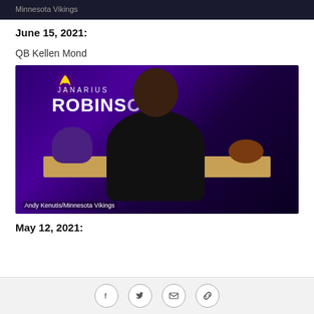[Figure (photo): Cropped top portion of a photo showing Minnesota Vikings text/branding, dark background]
June 15, 2021:
QB Kellen Mond
[Figure (photo): Janarius Robinson signing his contract with the Minnesota Vikings. He sits at a wooden table with a Vikings helmet on the left and a football on the right. The purple backdrop reads 'JANARIUS ROBINSON' with the Vikings logo. Caption: Andy Kenutis/Minnesota Vikings]
Andy Kenutis/Minnesota Vikings
May 12, 2021:
Facebook Twitter Email Link